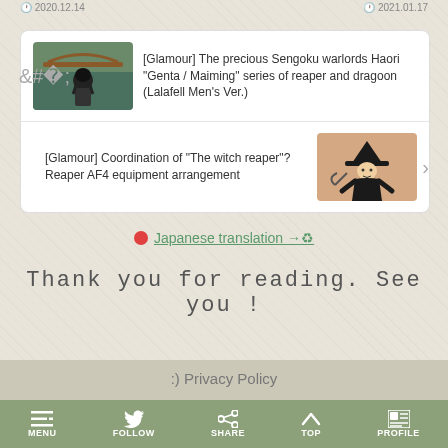2020.12.14    2021.01.17
[Figure (screenshot): Card widget showing two related articles with thumbnails: 1) '[Glamour] The precious Sengoku warlords Haori "Genta / Maiming" series of reaper and dragoon (Lalafell Men's Ver.)' with a game character thumbnail on the left, 2) '[Glamour] Coordination of "The witch reaper"? Reaper AF4 equipment arrangement' with a witch-hat character thumbnail on the right]
🔴 Japanese translation →♻
Thank you for reading. See you !
:) Privacy Policy
MENU  FOLLOW  SHARE  TOP  PROFILE